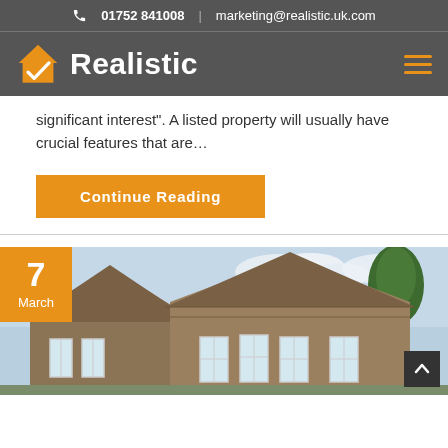01752 841008 | marketing@realistic.uk.com
[Figure (logo): Realistic logo with orange house checkmark icon and white text 'Realistic' on dark grey background]
significant interest". A listed property will usually have crucial features that are…
Continue Reading
[Figure (photo): Stone cottage/house with brown tiled roof, white-framed windows, green trees in background, blue sky. Orange date badge showing '7 March' in top-left corner.]